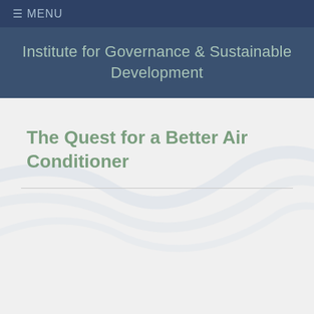☰ MENU
Institute for Governance & Sustainable Development
The Quest for a Better Air Conditioner